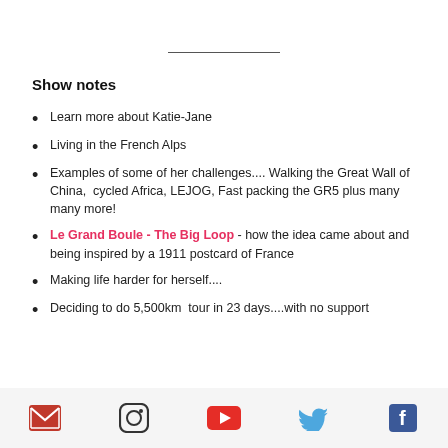Show notes
Learn more about Katie-Jane
Living in the French Alps
Examples of some of her challenges.... Walking the Great Wall of China,  cycled Africa, LEJOG, Fast packing the GR5 plus many many more!
Le Grand Boule - The Big Loop - how the idea came about and being inspired by a 1911 postcard of France
Making life harder for herself....
Deciding to do 5,500km  tour in 23 days....with no support
[Figure (other): Social media icons row: email, Instagram, YouTube, Twitter, Facebook]